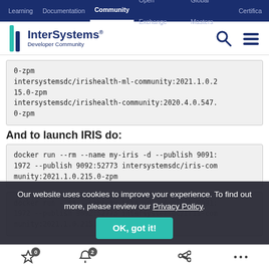Learning | Documentation | Community | Open Exchange | Global Masters | Certification
[Figure (logo): InterSystems Developer Community logo with navigation icons]
0-zpm intersystemsdc/irishealth-ml-community:2021.1.0.215.0-zpm intersystemsdc/irishealth-community:2020.4.0.547.0-zpm
And to launch IRIS do:
docker run --rm --name my-iris -d --publish 9091:1972 --publish 9092:52773 intersystemsdc/iris-community:2021.1.0.215.0-zpm
docker run --rm --name my-iris -d --publish 9091:1972 --publish 9092:52773 intersystemsdc/iris-community:2021.1.0.215.0-zpm
Our website uses cookies to improve your experience. To find out more, please review our Privacy Policy.